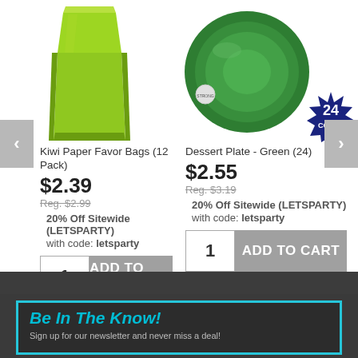[Figure (photo): Kiwi green paper favor bag product image]
Kiwi Paper Favor Bags (12 Pack)
$2.39
Reg. $2.99
20% Off Sitewide (LETSPARTY)
with code: letsparty
[Figure (photo): Green dessert plate product image with 24 count badge]
Dessert Plate - Green (24)
$2.55
Reg. $3.19
20% Off Sitewide (LETSPARTY)
with code: letsparty
Be In The Know!